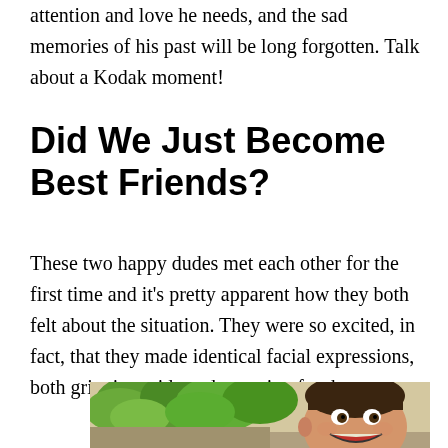attention and love he needs, and the sad memories of his past will be long forgotten. Talk about a Kodak moment!
Did We Just Become Best Friends?
These two happy dudes met each other for the first time and it's pretty apparent how they both felt about the situation. They were so excited, in fact, that they made identical facial expressions, both grinning wide and mugging for the camera.
[Figure (photo): A young man grinning widely outdoors with green trees in the background, making an exaggerated happy expression for the camera.]